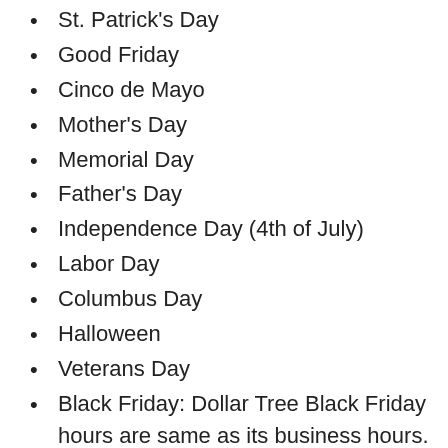St. Patrick's Day
Good Friday
Cinco de Mayo
Mother's Day
Memorial Day
Father's Day
Independence Day (4th of July)
Labor Day
Columbus Day
Halloween
Veterans Day
Black Friday: Dollar Tree Black Friday hours are same as its business hours.
Cyber Monday
Christmas Eve
New Year's Eve: Dollar Tree new years eve hours may be extended or reduced hours than the normal hours.